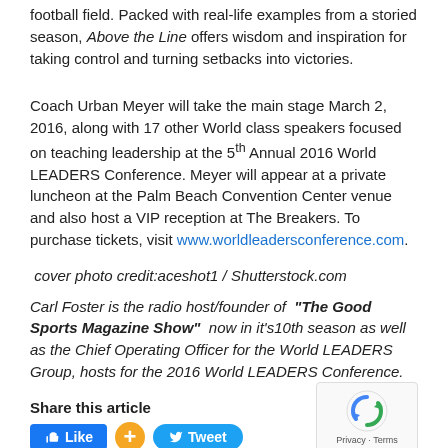football field. Packed with real-life examples from a storied season, Above the Line offers wisdom and inspiration for taking control and turning setbacks into victories.
Coach Urban Meyer will take the main stage March 2, 2016, along with 17 other World class speakers focused on teaching leadership at the 5th Annual 2016 World LEADERS Conference. Meyer will appear at a private luncheon at the Palm Beach Convention Center venue and also host a VIP reception at The Breakers. To purchase tickets, visit www.worldleadersconference.com.
cover photo credit:aceshot1 / Shutterstock.com
Carl Foster is the radio host/founder of "The Good Sports Magazine Show" now in it's10th season as well as the Chief Operating Officer for the World LEADERS Group, hosts for the 2016 World LEADERS Conference.
Share this article